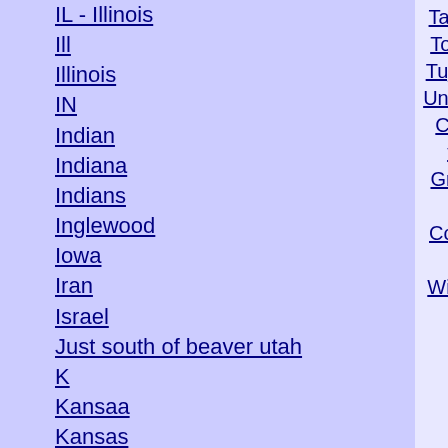IL - Illinois
Ill
Illinois
IN
Indian
Indiana
Indians
Inglewood
Iowa
Iran
Israel
Just south of beaver utah
K
Kansaa
Kansas
KENTUCKEY
Kentucky
Kentucky (KY)
KS
kwazulu-Natal
Tarzana Tehachapi Temecula Temple City Thousand Rivers Tiburon Topanga Torrance Tracy Tracy. Just after MacArthur Exit Truckee Tujunga Tulare Turlock Tustin Twentynine twin bridges Union City University Heights Valencia Valinda Vallejo Valley Center Valley Center/Escondido Valyermo Van Nuys Ventura County Vernon victorville visalia c.a Vista Vital Junction Walnut walnut creek Grove Warm springs Waterford Wattsonville West Covina West Hills West Hollywood West Los Angeles West of Cochella Sacramento Westchester Westlake Village Westlake Village California Westminster Westwood Whittier Wildomar Wilton Winters Woodland woodland hills Wrightwood x1ntdUZVg Yermo Yorba Linda yuba city Yucaipa Yucca Valley Zzyzx
Home > California
California
San mateo, California